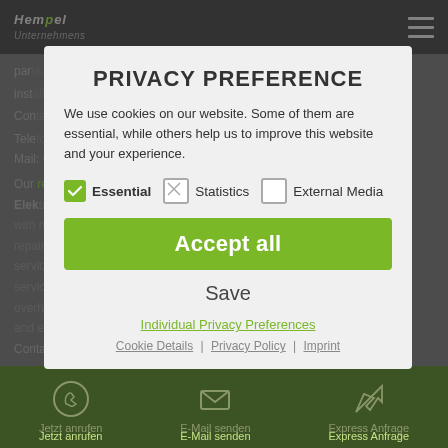[Figure (screenshot): Website background with dark header bar showing HEMPEL logo and navigation, grey content area with German text about repair services, green bottom bar with contact icons]
PRIVACY PREFERENCE
We use cookies on our website. Some of them are essential, while others help us to improve this website and your experience.
✓ Essential   □ Statistics   □ External Media
Accept all
Save
Individual Privacy Preferences
Cookie Details | Privacy Policy | Imprint
Jetzt anrufen   E-Mail senden   Express Anfrage